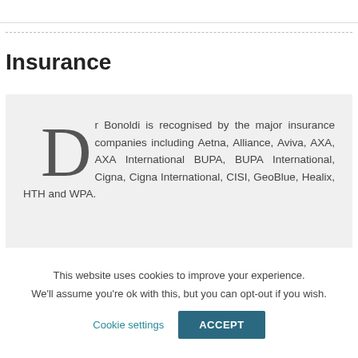Insurance
Dr Bonoldi is recognised by the major insurance companies including Aetna, Alliance, Aviva, AXA, AXA International BUPA, BUPA International, Cigna, Cigna International, CISI, GeoBlue, Healix, HTH and WPA.
This website uses cookies to improve your experience. We'll assume you're ok with this, but you can opt-out if you wish.
Cookie settings
ACCEPT